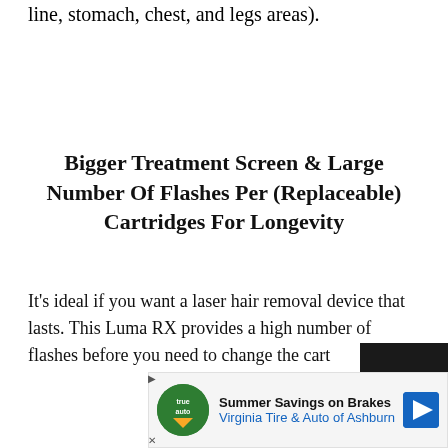line, stomach, chest, and legs areas).
Bigger Treatment Screen & Large Number Of Flashes Per (Replaceable) Cartridges For Longevity
It's ideal if you want a laser hair removal device that lasts. This Luma RX provides a high number of flashes before you need to change the cart…
[Figure (other): Advertisement banner: Summer Savings on Brakes - Virginia Tire & Auto of Ashburn, with logo and directional sign icon]